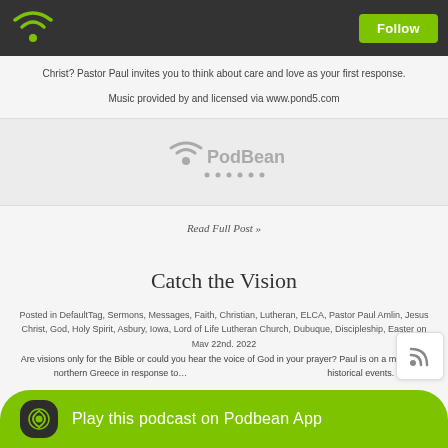Follow
Christ? Pastor Paul invites you to think about care and love as your first response.
Music provided by and licensed via www.pond5.com
[Figure (logo): PodBean podcast player embed logo]
Read Full Post »
Catch the Vision
Posted in DefaultTag, Sermons, Messages, Faith, Christian, Lutheran, ELCA, Pastor Paul Amlin, Jesus Christ, God, Holy Spirit, Asbury, Iowa, Lord of Life Lutheran Church, Dubuque, Discipleship, Easter on May 22nd, 2022  Comments
Are visions only for the Bible or could you hear the voice of God in your prayer? Paul is on a military to northern Greece in response to...  historical events.
Play this podcast on Podbean App